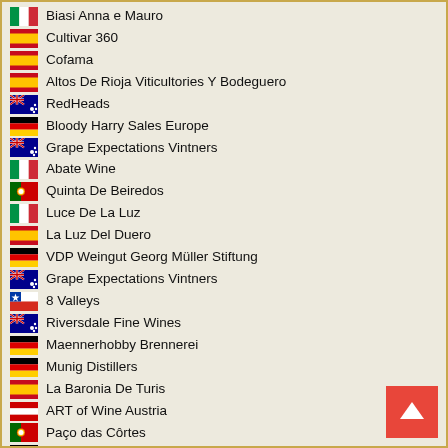Biasi Anna e Mauro
Cultivar 360
Cofama
Altos De Rioja Viticultories Y Bodeguero
RedHeads
Bloody Harry Sales Europe
Grape Expectations Vintners
Abate Wine
Quinta De Beiredos
Luce De La Luz
La Luz Del Duero
VDP Weingut Georg Müller Stiftung
Grape Expectations Vintners
8 Valleys
Riversdale Fine Wines
Maennerhobby Brennerei
Munig Distillers
La Baronia De Turis
ART of Wine Austria
Paço das Côrtes
Vinhos Sao Pedro Forneira